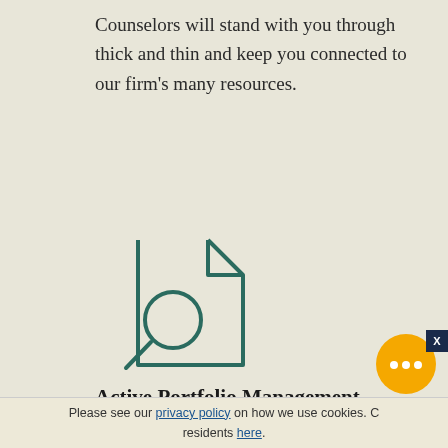Counselors will stand with you through thick and thin and keep you connected to our firm's many resources.
[Figure (illustration): Document with magnifying glass icon, outline style in dark teal/green color]
Active Portfolio Management
We take an active, disciplined and global approach to managing money. We start by getting to know the real you through your goals, needs, lifestyle, family, health and more. Then we create a personalized portfolio for you. We're always
Please see our privacy policy on how we use cookies. C... residents here.